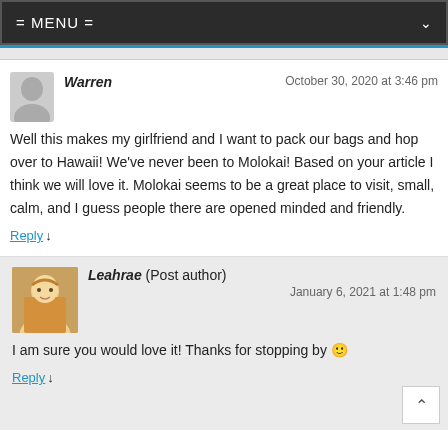= MENU =
Warren — October 30, 2020 at 3:46 pm
Well this makes my girlfriend and I want to pack our bags and hop over to Hawaii! We've never been to Molokai! Based on your article I think we will love it. Molokai seems to be a great place to visit, small, calm, and I guess people there are opened minded and friendly.
Reply ↓
Leahrae (Post author) — January 6, 2021 at 1:48 pm
I am sure you would love it!  Thanks for stopping by 🙂
Reply ↓